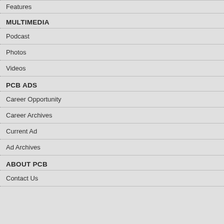Features
MULTIMEDIA
Podcast
Photos
Videos
PCB ADS
Career Opportunity
Career Archives
Current Ad
Ad Archives
ABOUT PCB
Contact Us